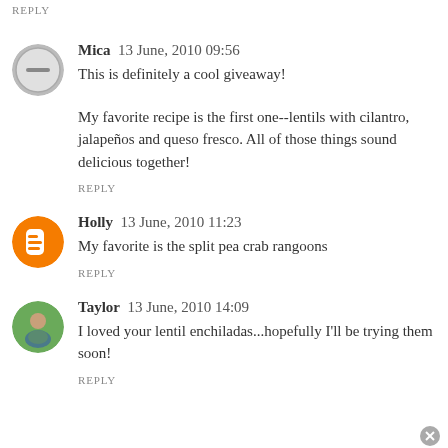REPLY
Mica  13 June, 2010 09:56
This is definitely a cool giveaway!
My favorite recipe is the first one--lentils with cilantro, jalapeños and queso fresco. All of those things sound delicious together!
REPLY
Holly  13 June, 2010 11:23
My favorite is the split pea crab rangoons
REPLY
Taylor  13 June, 2010 14:09
I loved your lentil enchiladas...hopefully I'll be trying them soon!
REPLY